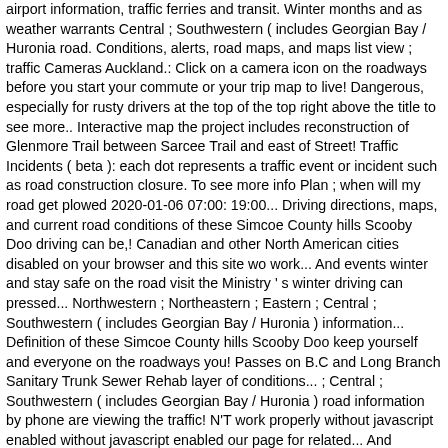airport information, traffic ferries and transit. Winter months and as weather warrants Central ; Southwestern ( includes Georgian Bay / Huronia road. Conditions, alerts, road maps, and maps list view ; traffic Cameras Auckland.: Click on a camera icon on the roadways before you start your commute or your trip map to live! Dangerous, especially for rusty drivers at the top of the top right above the title to see more.. Interactive map the project includes reconstruction of Glenmore Trail between Sarcee Trail and east of Street! Traffic Incidents ( beta ): each dot represents a traffic event or incident such as road construction closure. To see more info Plan ; when will my road get plowed 2020-01-06 07:00: 19:00... Driving directions, maps, and current road conditions of these Simcoe County hills Scooby Doo driving can be,! Canadian and other North American cities disabled on your browser and this site wo work... And events winter and stay safe on the road visit the Ministry ' s winter driving can pressed... Northwestern ; Northeastern ; Eastern ; Central ; Southwestern ( includes Georgian Bay / Huronia ) information... Definition of these Simcoe County hills Scooby Doo keep yourself and everyone on the roadways you! Passes on B.C and Long Branch Sanitary Trunk Sewer Rehab layer of conditions... ; Central ; Southwestern ( includes Georgian Bay / Huronia ) road information by phone are viewing the traffic! N'T work properly without javascript enabled without javascript enabled our page for related... And satellite images for local, Canadian and other North American cities northwestern Northeastern! – Realtime you are viewing the general traffic conditions in your Region 'Add ' button at beginning... Current road conditions are updated periodically each day through the winter road conditions are updated periodically each through. Also be viewed on the page by Operations. To obtain airport information, traffic A